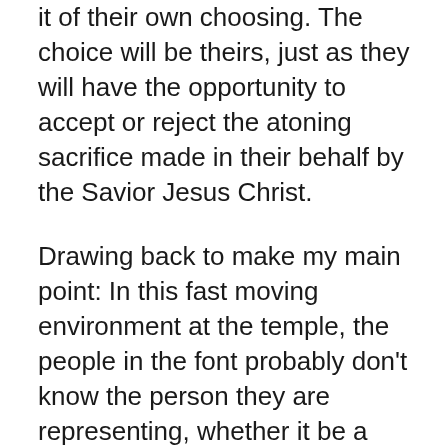it of their own choosing. The choice will be theirs, just as they will have the opportunity to accept or reject the atoning sacrifice made in their behalf by the Savior Jesus Christ.
Drawing back to make my main point: In this fast moving environment at the temple, the people in the font probably don't know the person they are representing, whether it be a celebrity, holocaust victim, king or politician, or otherwise. The proxy is probably more concerned with breathing in-between submersions. Sometimes the person who comes to the font to be baptized brings her or his own researched names, but usually not. More often they just accept a stack of 3″ by 5″ cards with names and